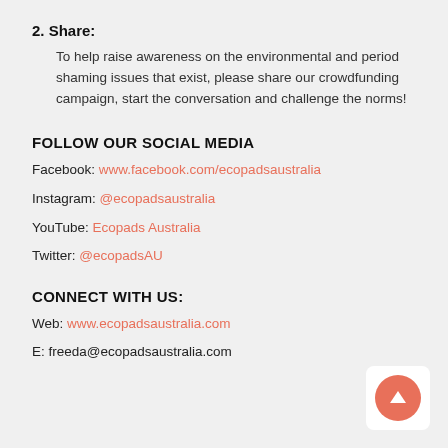2. Share:
To help raise awareness on the environmental and period shaming issues that exist, please share our crowdfunding campaign, start the conversation and challenge the norms!
FOLLOW OUR SOCIAL MEDIA
Facebook: www.facebook.com/ecopadsaustralia
Instagram: @ecopadsaustralia
YouTube: Ecopads Australia
Twitter: @ecopadsAU
CONNECT WITH US:
Web: www.ecopadsaustralia.com
E: freeda@ecopadsaustralia.com